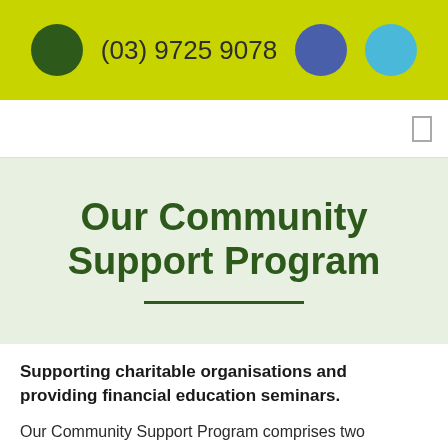(03) 9725 9078
Our Community Support Program
Supporting charitable organisations and providing financial education seminars.
Our Community Support Program comprises two elements. The first is our commitment to donate at